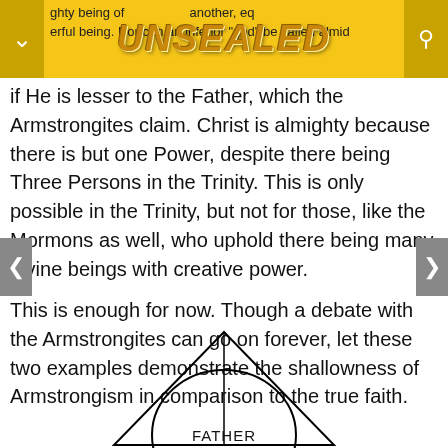UNSEALED — ghty being of ... another, eq... erful being. Nor can an inferior "god" be called almid...
if He is lesser to the Father, which the Armstrongites claim. Christ is almighty because there is but one Power, despite there being Three Persons in the Trinity. This is only possible in the Trinity, but not for those, like the Mormons as well, who uphold there being many divine beings with creative power.
This is enough for now. Though a debate with the Armstrongites can go on forever, let these two examples demonstrate the shallowness of Armstrongism in comparison to the true faith.
[Figure (illustration): Partial Trinity diagram showing a triangle with a circle inside. The word FATHER is visible at the bottom center of the triangle. The diagram is partially cut off at the bottom of the page.]